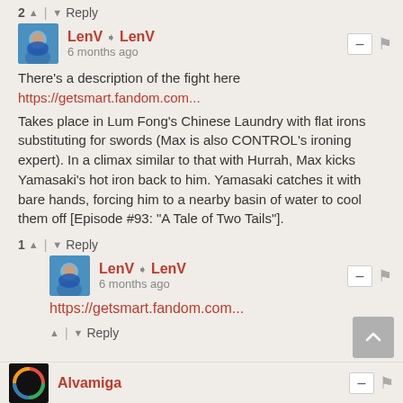2 ▲ | ▼ Reply
LenV ➜ LenV
6 months ago
There's a description of the fight here https://getsmart.fandom.com...
Takes place in Lum Fong's Chinese Laundry with flat irons substituting for swords (Max is also CONTROL's ironing expert). In a climax similar to that with Hurrah, Max kicks Yamasaki's hot iron back to him. Yamasaki catches it with bare hands, forcing him to a nearby basin of water to cool them off [Episode #93: "A Tale of Two Tails"].
1 ▲ | ▼ Reply
LenV ➜ LenV
6 months ago
https://getsmart.fandom.com...
▲ | ▼ Reply
Alvamiga